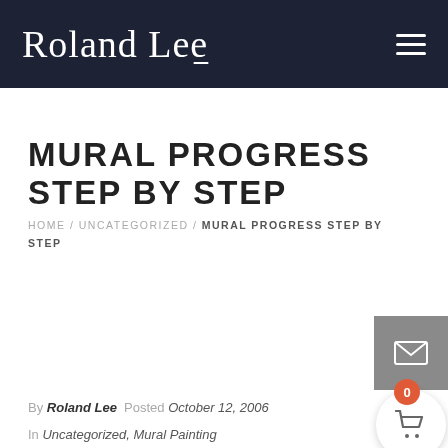Roland Lee
MURAL PROGRESS STEP BY STEP
HOME / UNCATEGORIZED / MURAL PROGRESS STEP BY STEP
By Roland Lee  Posted October 12, 2006
In Uncategorized, Mural Painting